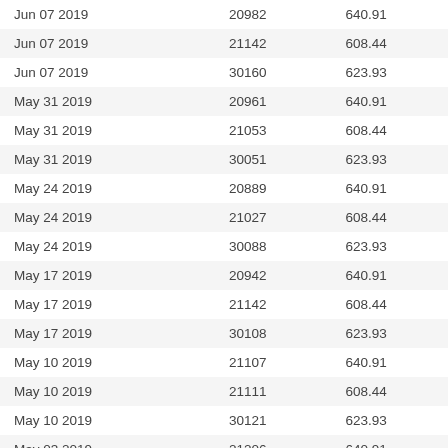| Jun 07 2019 | 20982 | 640.91 |
| Jun 07 2019 | 21142 | 608.44 |
| Jun 07 2019 | 30160 | 623.93 |
| May 31 2019 | 20961 | 640.91 |
| May 31 2019 | 21053 | 608.44 |
| May 31 2019 | 30051 | 623.93 |
| May 24 2019 | 20889 | 640.91 |
| May 24 2019 | 21027 | 608.44 |
| May 24 2019 | 30088 | 623.93 |
| May 17 2019 | 20942 | 640.91 |
| May 17 2019 | 21142 | 608.44 |
| May 17 2019 | 30108 | 623.93 |
| May 10 2019 | 21107 | 640.91 |
| May 10 2019 | 21111 | 608.44 |
| May 10 2019 | 30121 | 623.93 |
| May 03 2019 | 21206 | 640.91 |
| May 03 2019 | 21162 | 608.44 |